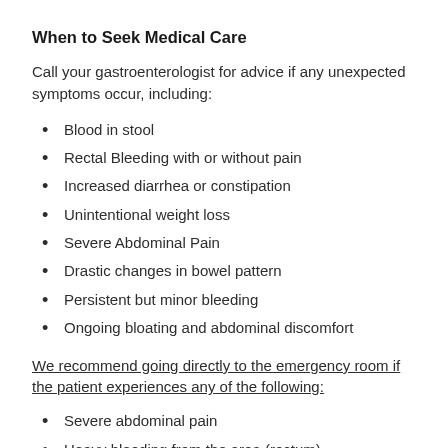When to Seek Medical Care
Call your gastroenterologist for advice if any unexpected symptoms occur, including:
Blood in stool
Rectal Bleeding with or without pain
Increased diarrhea or constipation
Unintentional weight loss
Severe Abdominal Pain
Drastic changes in bowel pattern
Persistent but minor bleeding
Ongoing bloating and abdominal discomfort
We recommend going directly to the emergency room if the patient experiences any of the following:
Severe abdominal pain
Heavy bleeding from the area (rectum)